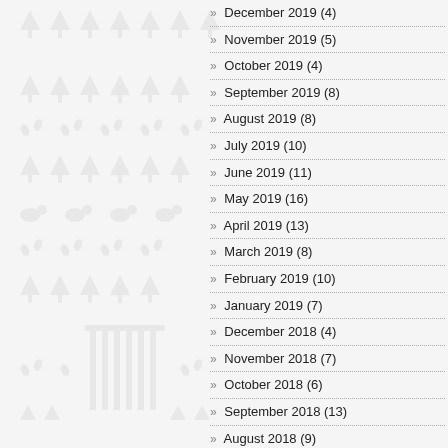[Figure (illustration): Decorative watermark background with faint grey icons of trees, animals, buildings on left portion of page]
December 2019 (4)
November 2019 (5)
October 2019 (4)
September 2019 (8)
August 2019 (8)
July 2019 (10)
June 2019 (11)
May 2019 (16)
April 2019 (13)
March 2019 (8)
February 2019 (10)
January 2019 (7)
December 2018 (4)
November 2018 (7)
October 2018 (6)
September 2018 (13)
August 2018 (9)